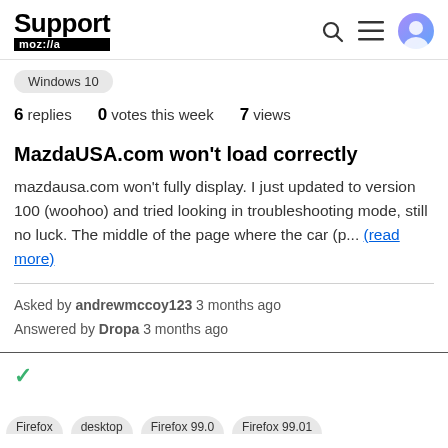Support mozilla
Windows 10
6 replies  0 votes this week  7 views
MazdaUSA.com won't load correctly
mazdausa.com won't fully display. I just updated to version 100 (woohoo) and tried looking in troubleshooting mode, still no luck. The middle of the page where the car (p... (read more)
Asked by andrewmccoy123 3 months ago
Answered by Dropa 3 months ago
✓
Firefox  desktop  Firefox 99.0  Firefox 99.01